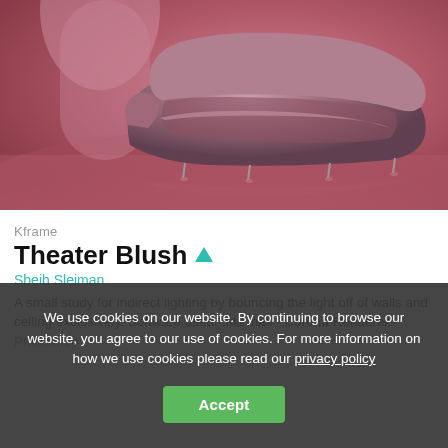[Figure (photo): 3D render of a curved blush/mauve velvet sofa with thin metal legs on a pink-toned floor against a red-pink background wall. Soft indirect lighting.]
Kframe
Theater Blush ▲
Sbeih Sleiman
A small study for indirect lighting by bouncing the light off of walls and ceiling exclusively. Software used: 3ds max - Corona Renderer - Photoshop
We use cookies on our website. By continuing to browse our website, you agree to our use of cookies. For more information on how we use cookies please read our privacy policy
Accept